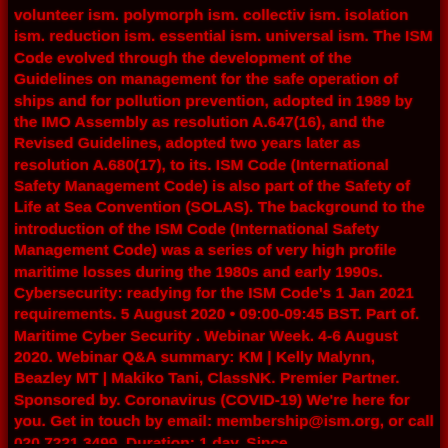volunteer ism. polymorph ism. collectiv ism. isolation ism. reduction ism. essential ism. universal ism. The ISM Code evolved through the development of the Guidelines on management for the safe operation of ships and for pollution prevention, adopted in 1989 by the IMO Assembly as resolution A.647(16), and the Revised Guidelines, adopted two years later as resolution A.680(17), to its. ISM Code (International Safety Management Code) is also part of the Safety of Life at Sea Convention (SOLAS). The background to the introduction of the ISM Code (International Safety Management Code) was a series of very high profile maritime losses during the 1980s and early 1990s. Cybersecurity: readying for the ISM Code's 1 Jan 2021 requirements. 5 August 2020 • 09:00-09:45 BST. Part of. Maritime Cyber Security . Webinar Week. 4-6 August 2020. Webinar Q&A summary: KM | Kelly Malynn, Beazley MT | Makiko Tani, ClassNK. Premier Partner. Sponsored by. Coronavirus (COVID-19) We're here for you. Get in touch by email: membership@ism.org, or call 020 7221 3499. Duration: 1 day. Since